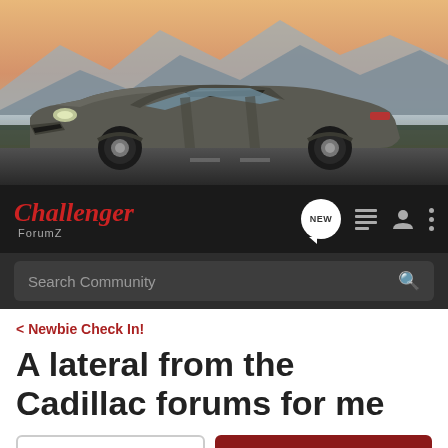[Figure (photo): Banner photo of a dark grey Dodge Challenger muscle car on a road with mountains and sunset sky in background]
[Figure (logo): Challenger ForumZ logo with red italic script text and grey ForumZ subtitle, navigation icons including NEW speech bubble, list icon, user icon, and vertical dots menu]
Search Community
< Newbie Check In!
A lateral from the Cadillac forums for me
→ Jump to Latest
+ Follow
1 - 20 of 23 Posts
1 of 2